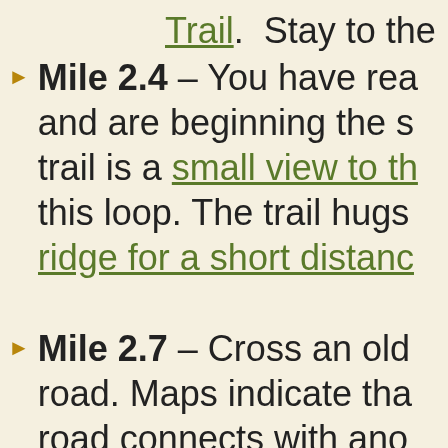Trail.  Stay to the right,
Mile 2.4 – You have rea and are beginning the s trail is a small view to th this loop. The trail hugs ridge for a short distanc
Mile 2.7 – Cross an old road. Maps indicate tha road connects with ano on the summit of the m